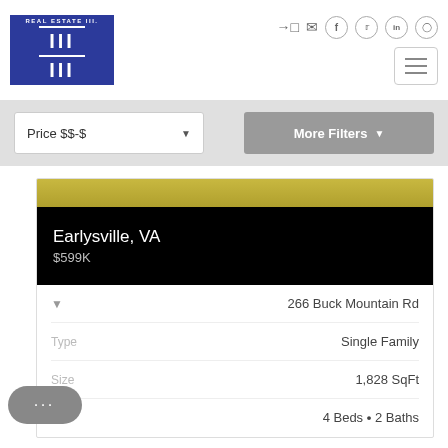[Figure (logo): Real Estate III logo — blue rectangle with Roman numeral III and text REAL ESTATE III]
Social icons: login, email, facebook, twitter, linkedin, instagram; hamburger menu button
Price $$-$
More Filters
Earlysville, VA
$599K
266 Buck Mountain Rd
Type	Single Family
Size	1,828 SqFt
4 Beds • 2 Baths